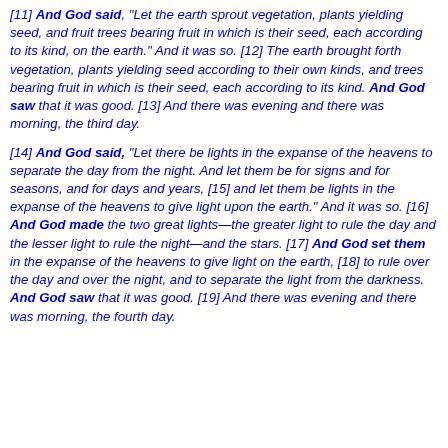[11] And God said, "Let the earth sprout vegetation, plants yielding seed, and fruit trees bearing fruit in which is their seed, each according to its kind, on the earth." And it was so. [12] The earth brought forth vegetation, plants yielding seed according to their own kinds, and trees bearing fruit in which is their seed, each according to its kind. And God saw that it was good. [13] And there was evening and there was morning, the third day.
[14] And God said, "Let there be lights in the expanse of the heavens to separate the day from the night. And let them be for signs and for seasons, and for days and years, [15] and let them be lights in the expanse of the heavens to give light upon the earth." And it was so. [16] And God made the two great lights—the greater light to rule the day and the lesser light to rule the night—and the stars. [17] And God set them in the expanse of the heavens to give light on the earth, [18] to rule over the day and over the night, and to separate the light from the darkness. And God saw that it was good. [19] And there was evening and there was morning, the fourth day.